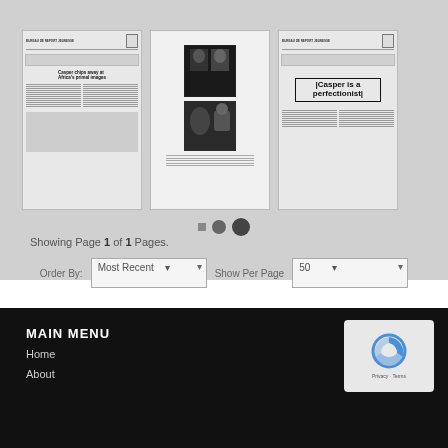[Figure (screenshot): Three document thumbnail images showing newspaper clippings. Left: 'Casper chips away at Africa's primal images'. Middle: photographs of people. Right: bold text 'Casper is a perfectionist'.]
Showing Page 1 of 1 Pages.
Order By: Most Recent   Show Per Page: 50
MAIN MENU
Home
About